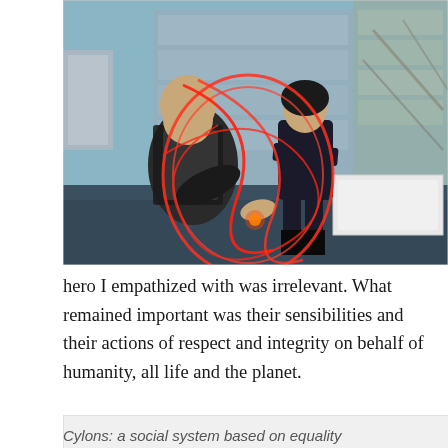[Figure (photo): A scene from a science fiction TV show or film showing two characters. On the left, a bald man in a dark vest leans forward with his hand outstretched. On the right, a woman in dark clothing stands with arms crossed. Red glowing energy spirals/circles surround them. The background shows a multi-story industrial or office interior through glass windows.]
hero I empathized with was irrelevant. What remained important was their sensibilities and their actions of respect and integrity on behalf of humanity, all life and the planet.
[Figure (other): Partially visible light gray box at bottom of page, with partially visible italic text 'Cylons: a social system based on equality']